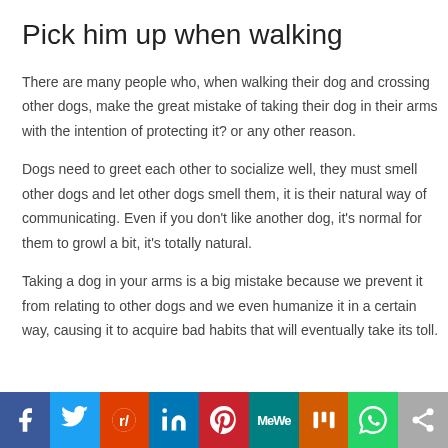Pick him up when walking
There are many people who, when walking their dog and crossing other dogs, make the great mistake of taking their dog in their arms with the intention of protecting it? or any other reason.
Dogs need to greet each other to socialize well, they must smell other dogs and let other dogs smell them, it is their natural way of communicating. Even if you don't like another dog, it's normal for them to growl a bit, it's totally natural.
Taking a dog in your arms is a big mistake because we prevent it from relating to other dogs and we even humanize it in a certain way, causing it to acquire bad habits that will eventually take its toll.
[Figure (infographic): Social media sharing bar with icons for Facebook, Twitter, Reddit, LinkedIn, Pinterest, MeWe, Mix, WhatsApp, and Share]